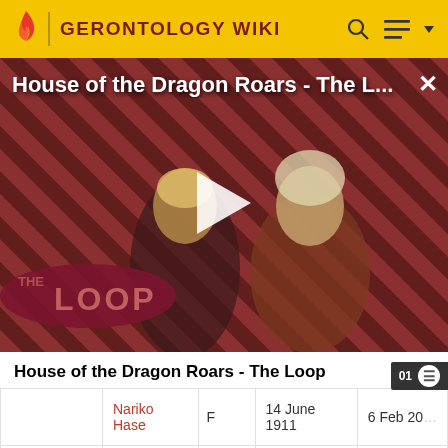GERONTOLOGY WIKI
[Figure (screenshot): Video thumbnail for 'House of the Dragon Roars - The L...' showing two characters from House of the Dragon TV show with a diagonal red and dark stripe pattern background and The Loop logo overlay. A white play button triangle is centered on the image.]
House of the Dragon Roars - The Loop
|  | Name | Sex | Date of Birth | Date of Death |
| --- | --- | --- | --- | --- |
|  | Nariko Hase | F | 14 June 1911 | 6 Feb 20... |